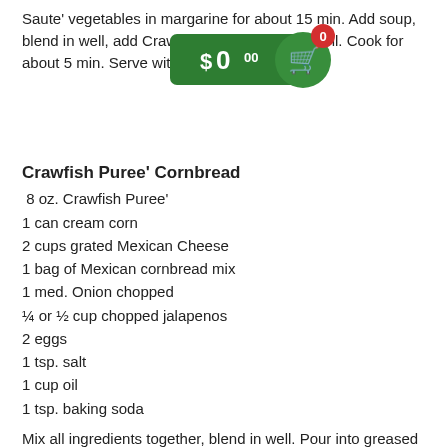Saute' vegetables in margarine for about 15 min. Add soup, blend in well, add Crawfish Puree', blend in well. Cook for about 5 min. Serve with Crackers.
[Figure (other): Shopping cart widget showing $0.00 price on a green banner with a cart icon and red badge showing 0 items]
Crawfish Puree' Cornbread
8 oz. Crawfish Puree'
1 can cream corn
2 cups grated Mexican Cheese
1 bag of Mexican cornbread mix
1 med. Onion chopped
¼ or ½ cup chopped jalapenos
2 eggs
1 tsp. salt
1 cup oil
1 tsp. baking soda
Mix all ingredients together, blend in well. Pour into greased 9 x 13 baking dish. Bake @ 350 for 35-45 minutes.
Crawfish Puree' Corn Casserole
Stick of margarine
1 onion chopped
1 bell pepper chopped